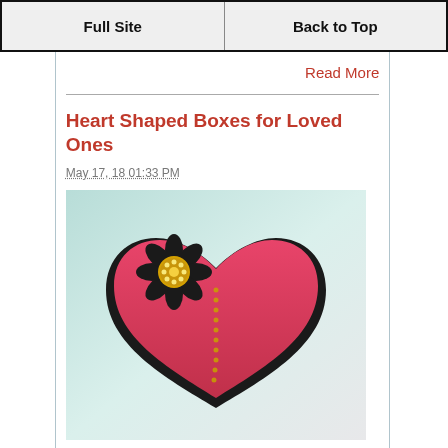Full Site | Back to Top
Read More
Heart Shaped Boxes for Loved Ones
May 17, 18 01:33 PM
[Figure (photo): A pink heart-shaped box with a black flower decoration and gold center button, with a beaded chain down the center, on a light background]
I am crazy about making cards and other crafts and love to share these with other people. I made this heart shaped box with this heart shape and